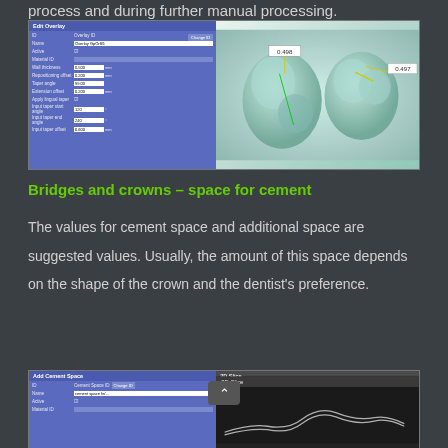process and during further manual processing.
[Figure (screenshot): Edit Overlay dialog box on the left with blue background and form fields, and a 3D dental crown model on the right with measurement annotations showing 0.498 and 0.497]
Bridges and crowns – space for cement
The values for cement space and additional space are suggested values. Usually, the amount of this space depends on the shape of the crown and the dentist's preference.
[Figure (screenshot): Add Cement Space dialog on the left with blue background and form fields, and a 2D Slice view on the right showing a curve on dark background with a scroll button]